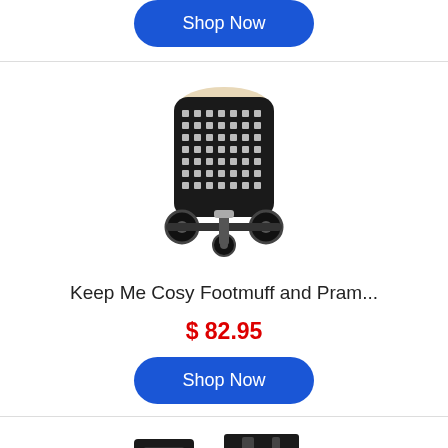[Figure (photo): Shop Now button (blue, rounded) at top of page]
[Figure (photo): Black and white patterned baby pram/stroller with footmuff, viewed from front]
Keep Me Cosy Footmuff and Pram...
$ 82.95
[Figure (photo): Shop Now button (blue, rounded)]
[Figure (photo): Partial view of black buckle/strap accessory at bottom of page]